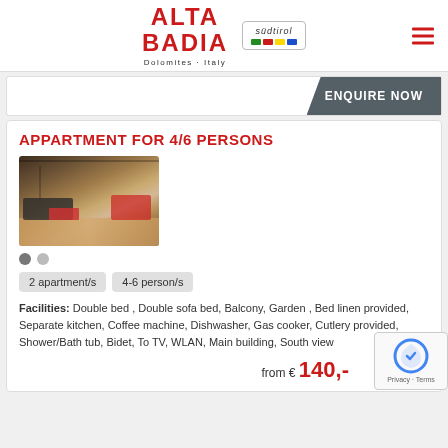[Figure (logo): Alta Badia Dolomites Italy logo with Südtirol badge]
ENQUIRE NOW
APPARTMENT FOR 4/6 PERSONS
[Figure (photo): Interior photo of an apartment with wooden floors, sofa, dining area]
2 apartment/s   4-6 person/s
Facilities: Double bed , Double sofa bed, Balcony, Garden , Bed linen provided, Separate kitchen, Coffee machine, Dishwasher, Gas cooker, Cutlery provided, Shower/Bath tub, Bidet, To... TV, WLAN, Main building, South view
from € 140,-